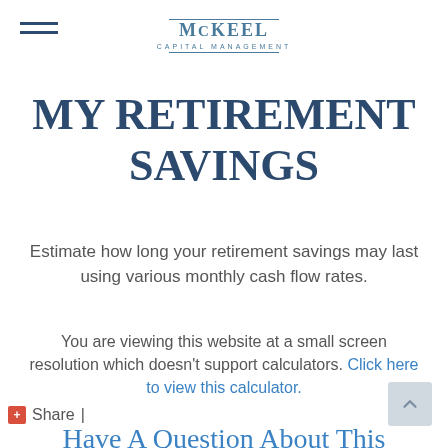McKeel Capital Management
MY RETIREMENT SAVINGS
Estimate how long your retirement savings may last using various monthly cash flow rates.
You are viewing this website at a small screen resolution which doesn't support calculators. Click here to view this calculator.
Share |
Have A Question About This Topic?